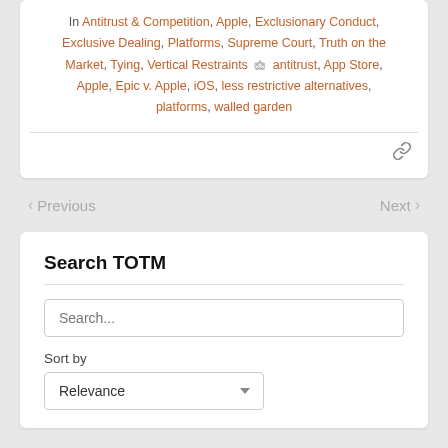In Antitrust & Competition, Apple, Exclusionary Conduct, Exclusive Dealing, Platforms, Supreme Court, Truth on the Market, Tying, Vertical Restraints  antitrust, App Store, Apple, Epic v. Apple, iOS, less restrictive alternatives, platforms, walled garden
Previous   Next
Search TOTM
Search...
Sort by  Relevance